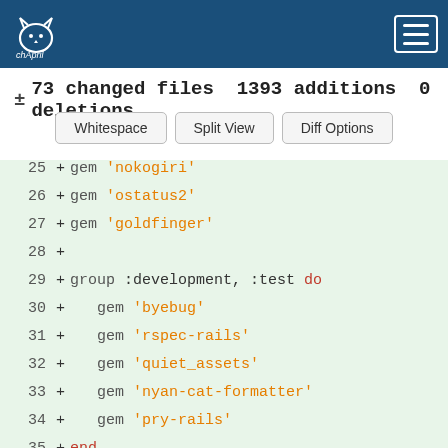chApril (logo)
± 73 changed files 1393 additions 0 deletions
Whitespace | Split View | Diff Options
[Figure (screenshot): Code diff view showing lines 25-40 of a Gemfile with added lines (gems: nokogiri, ostatus2, goldfinger, group :development :test with byebug, rspec-rails, quiet_assets, nyan-cat-formatter, pry-rails, end, group :development with web-console ~> 2.0, spring, rubocon require: false)]